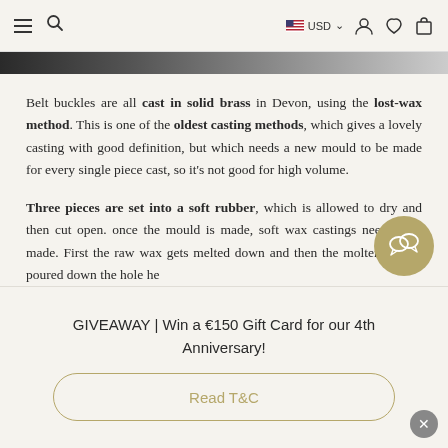≡ 🔍  USD ∨ 👤 ♡ 🛍
[Figure (photo): Partial product image strip at top of page]
Belt buckles are all cast in solid brass in Devon, using the lost-wax method. This is one of the oldest casting methods, which gives a lovely casting with good definition, but which needs a new mould to be made for every single piece cast, so it's not good for high volume.
Three pieces are set into a soft rubber, which is allowed to dry and then cut open. once the mould is made, soft wax castings need to be made. First the raw wax gets melted down and then the molten wax is poured down the hole he
[Figure (illustration): Chat bubble / customer support icon overlay]
GIVEAWAY | Win a €150 Gift Card for our 4th Anniversary!
Read T&C